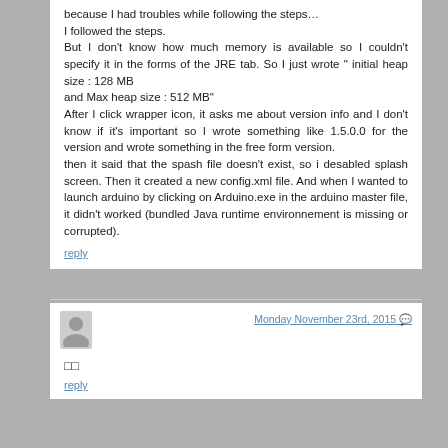because I had troubles while following the steps... I followed the steps. But I don't know how much memory is available so I couldn't specify it in the forms of the JRE tab. So I just wrote " initial heap size : 128 MB and Max heap size : 512 MB" After I click wrapper icon, it asks me about version info and I don't know if it's important so I wrote something like 1.5.0.0 for the version and wrote something in the free form version. then it said that the spash file doesn't exist, so i desabled splash screen. Then it created a new config.xml file. And when I wanted to launch arduino by clicking on Arduino.exe in the arduino master file, it didn't worked (bundled Java runtime environnement is missing or corrupted).
reply
Monday November 23rd, 2015
□□
reply